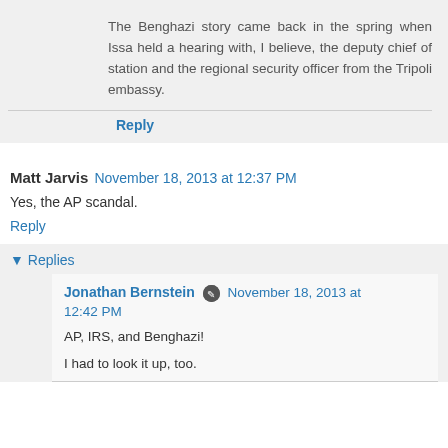The Benghazi story came back in the spring when Issa held a hearing with, I believe, the deputy chief of station and the regional security officer from the Tripoli embassy.
Reply
Matt Jarvis  November 18, 2013 at 12:37 PM
Yes, the AP scandal.
Reply
▾ Replies
Jonathan Bernstein  November 18, 2013 at 12:42 PM
AP, IRS, and Benghazi!
I had to look it up, too.